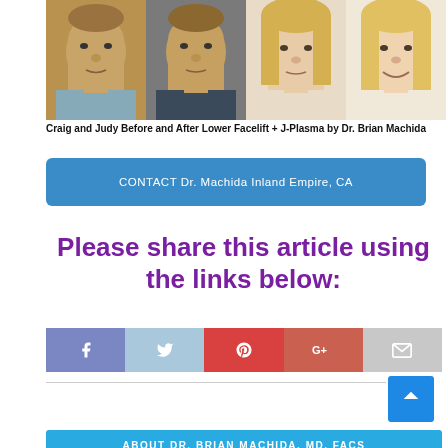[Figure (photo): Before and after photos of Craig and Judy showing Lower Facelift + J-Plasma results. Four facial portraits in a horizontal strip: Craig before (left), Craig after, Judy before, Judy after (right).]
Craig and Judy Before and After Lower Facelift + J-Plasma by Dr. Brian Machida
CONTACT Dr. Machida Inland Empire, CA
Please share this article using the links below:
[Figure (infographic): Social sharing buttons: Facebook, Twitter, Pinterest, Google+, Email]
ABOUT DR. BRIAN MACHIDA, MD, FACS